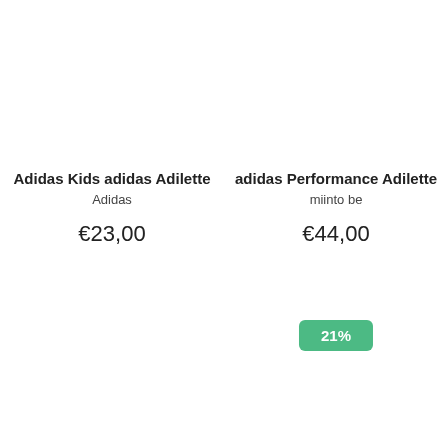Adidas Kids adidas Adilette
Adidas
€23,00
adidas Performance Adilette
miinto be
€44,00
21%